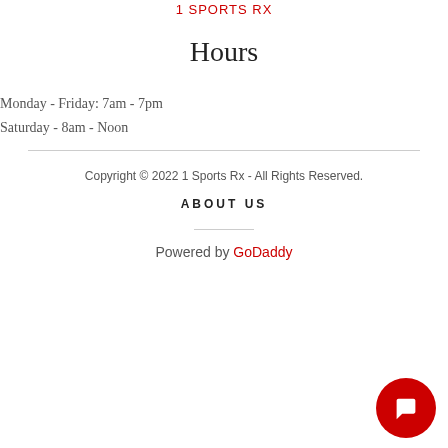1 SPORTS RX
Hours
Monday - Friday: 7am - 7pm
Saturday - 8am - Noon
Copyright © 2022 1 Sports Rx - All Rights Reserved.
ABOUT US
Powered by GoDaddy